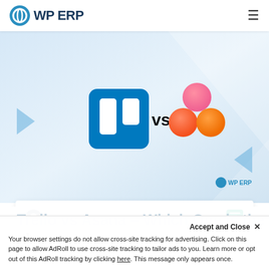WP ERP
[Figure (illustration): Hero banner with Trello logo (blue square with two white vertical card columns) vs Asana logo (three pink/orange circles arranged in triangle), with 'vs' text between them on a light blue gradient background with decorative triangles and WP ERP watermark]
Faisal Sarker | Updated: July 7, 2021
1
Trello vs Asana – Which One is the Best
Accept and Close ×
Your browser settings do not allow cross-site tracking for advertising. Click on this page to allow AdRoll to use cross-site tracking to tailor ads to you. Learn more or opt out of this AdRoll tracking by clicking here. This message only appears once.